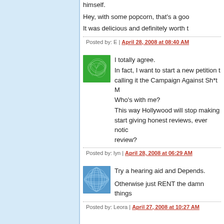himself.
Hey, with some popcorn, that's a goo
It was delicious and definitely worth t
Posted by: E | April 28, 2008 at 08:40 AM
[Figure (illustration): Green swirl avatar icon]
I totally agree.
In fact, I want to start a new petition to calling it the Campaign Against Sh*t M Who's with me?
This way Hollywood will stop making start giving honest reviews, ever notic review?
Posted by: lyn | April 28, 2008 at 06:29 AM
[Figure (illustration): Blue geometric oval pattern avatar icon]
Try a hearing aid and Depends.

Otherwise just RENT the damn things
Posted by: Leora | April 27, 2008 at 10:27 AM